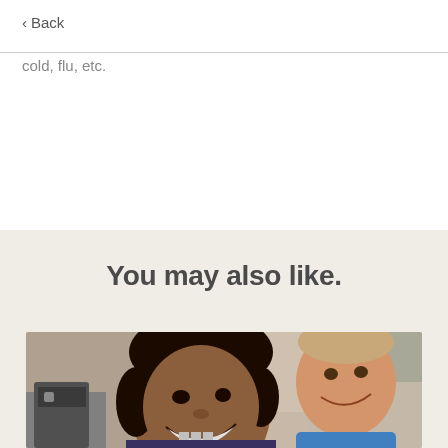< Back
cold, flu, etc.
You may also like.
[Figure (photo): Two smiling children, a girl with curly dark hair laughing in the foreground and a boy in a blue shirt in the background]